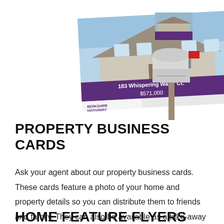[Figure (illustration): An illustration of a property business card featuring a house photo with a purple banner listing '183 Whispering Water Ct. $571,000' and a Berkshire Hathaway logo, along with a mailbox icon to the right.]
PROPERTY BUSINESS CARDS
Ask your agent about our property business cards. These cards feature a photo of your home and property details so you can distribute them to friends and family. They can also be available as a take-away for showings and open houses.
HOME FEATURE FLYERS